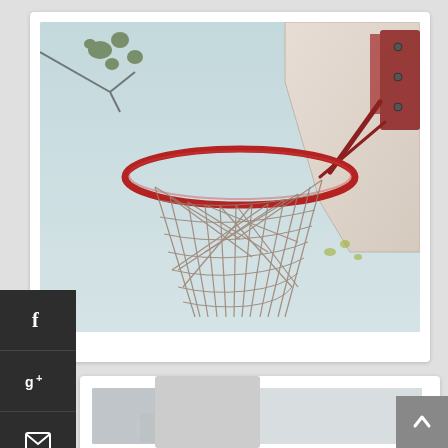[Figure (photo): Basketball hoop photographed from below against a light blue sky, showing the red metal rim and net hanging down, with a backboard visible at upper right. Some tree branches visible at upper left.]
[Figure (screenshot): Partially visible second card/post below the main basketball hoop image, showing a blurred or grey placeholder image.]
[Figure (other): Social sharing sidebar with Facebook (f), Google+ (g+), and email (envelope) icons in dark grey boxes on the left side.]